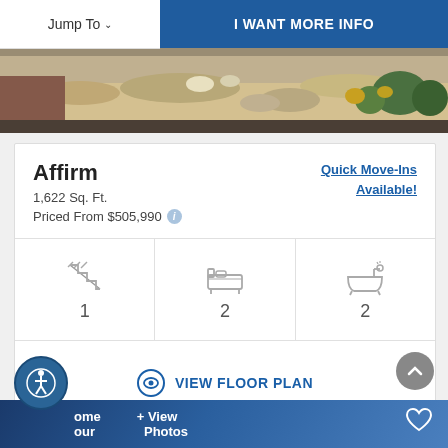Jump To   I WANT MORE INFO
[Figure (photo): Exterior landscape photo showing desert plants, rocks, and a driveway]
Affirm
1,622 Sq. Ft.
Priced From $505,990
Quick Move-Ins Available!
[Figure (infographic): Icons showing: 1 story (stairs icon), 2 bedrooms (bed icon), 2 bathrooms (bathtub icon)]
VIEW FLOOR PLAN
Home Tour   + View Photos